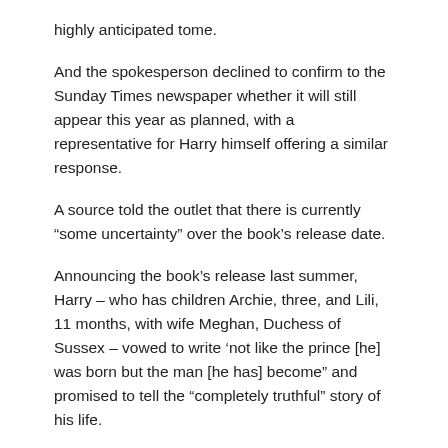highly anticipated tome.
And the spokesperson declined to confirm to the Sunday Times newspaper whether it will still appear this year as planned, with a representative for Harry himself offering a similar response.
A source told the outlet that there is currently “some uncertainty” over the book’s release date.
Announcing the book’s release last summer, Harry – who has children Archie, three, and Lili, 11 months, with wife Meghan, Duchess of Sussex – vowed to write ‘not like the prince [he] was born but the man [he has] become” and promised to tell the “completely truthful” story of his life.
In a statement, he said: “I write this not as the prince that I was born, but as the man that I have become.
“Ιτ…